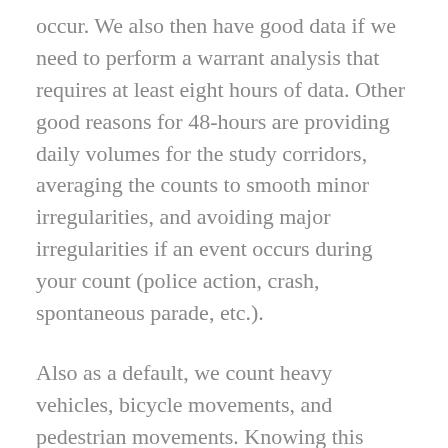occur. We also then have good data if we need to perform a warrant analysis that requires at least eight hours of data. Other good reasons for 48-hours are providing daily volumes for the study corridors, averaging the counts to smooth minor irregularities, and avoiding major irregularities if an event occurs during your count (police action, crash, spontaneous parade, etc.).
Also as a default, we count heavy vehicles, bicycle movements, and pedestrian movements. Knowing this extra data can assist with your overall site review and multi-modal analysis.
Other key points to remember for your data